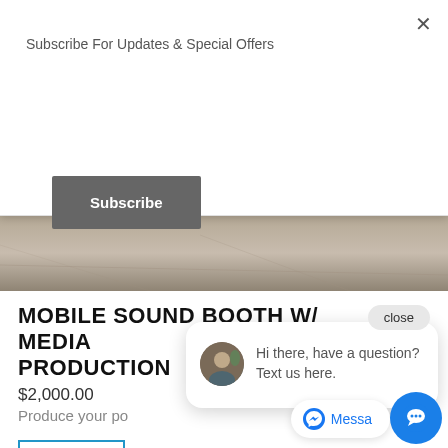Subscribe For Updates & Special Offers
Subscribe
[Figure (photo): Pavement/ground surface photo strip]
MOBILE SOUND BOOTH W/ MEDIA PRODUCTION
$2,000.00
Produce your po
SHOP
CATEGORIES
close
Hi there, have a question? Text us here.
Messa